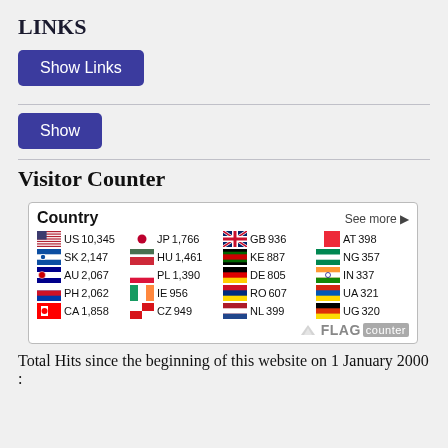LINKS
[Figure (screenshot): Show Links button (blue/purple rounded rectangle)]
[Figure (screenshot): Show button (blue/purple rounded rectangle)]
Visitor Counter
[Figure (table-as-image): Flag counter widget showing visitor counts by country: US 10,345 JP 1,766 GB 936 AT 398 SK 2,147 HU 1,461 KE 887 NG 357 AU 2,067 PL 1,390 DE 805 IN 337 PH 2,062 IE 956 RO 607 UA 321 CA 1,858 CZ 949 NL 399 UG 320]
Total Hits since the beginning of this website on 1 January 2000 :